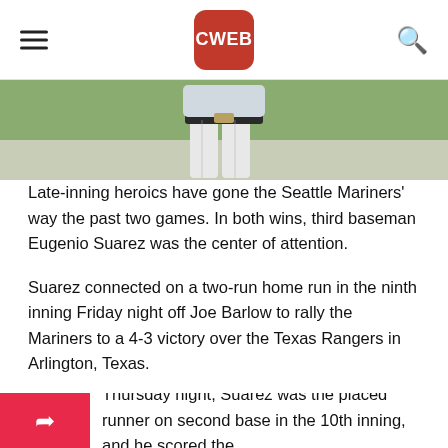CWEB
[Figure (photo): Partial photo of a baseball player in gray uniform, showing torso and legs with belt, green field in background]
Late-inning heroics have gone the Seattle Mariners' way the past two games. In both wins, third baseman Eugenio Suarez was the center of attention.
Suarez connected on a two-run home run in the ninth inning Friday night off Joe Barlow to rally the Mariners to a 4-3 victory over the Texas Rangers in Arlington, Texas.
Thursday night, Suarez was the placed runner on second base in the 10th inning, and he scored the